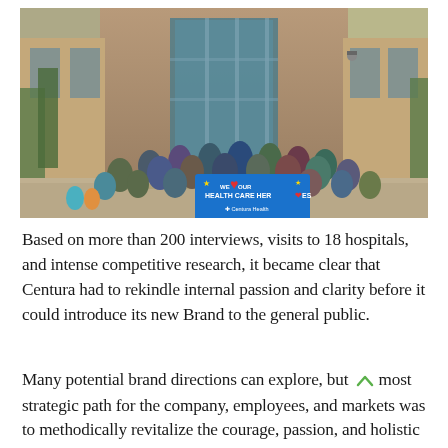[Figure (photo): Group photo of approximately 40 people wearing face masks standing in front of a modern brick and glass building. They are holding a blue banner that reads 'WE LOVE OUR HEALTH CARE HEROES' with a heart and star design and the Centura Health logo.]
Based on more than 200 interviews, visits to 18 hospitals, and intense competitive research, it became clear that Centura had to rekindle internal passion and clarity before it could introduce its new Brand to the general public.
Many potential brand directions can explore, but most strategic path for the company, employees, and markets was to methodically revitalize the courage, passion, and holistic approach of the Catholic nuns who